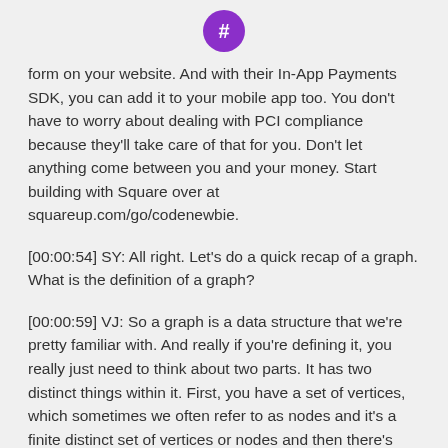[Figure (logo): Purple speech bubble icon with a hashtag symbol (CodeNewbie logo)]
form on your website. And with their In-App Payments SDK, you can add it to your mobile app too. You don't have to worry about dealing with PCI compliance because they'll take care of that for you. Don't let anything come between you and your money. Start building with Square over at squareup.com/go/codenewbie.
[00:00:54] SY: All right. Let's do a quick recap of a graph. What is the definition of a graph?
[00:00:59] VJ: So a graph is a data structure that we're pretty familiar with. And really if you're defining it, you really just need to think about two parts. It has two distinct things within it. First, you have a set of vertices, which sometimes we often refer to as nodes and it's a finite distinct set of vertices or nodes and then there's also a set of edges, which are the links, the references and the pointers between the vertices and they connect the vertices into the graph structure. And that's really all a graph really is, just those two distinct parts that are combined together to create...